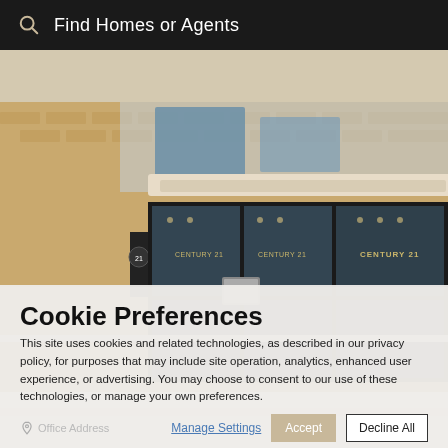Find Homes or Agents
[Figure (photo): Exterior photo of a Century 21 real estate office storefront in a brick building with large black-framed glass windows and signage.]
Cookie Preferences
This site uses cookies and related technologies, as described in our privacy policy, for purposes that may include site operation, analytics, enhanced user experience, or advertising. You may choose to consent to our use of these technologies, or manage your own preferences.
Office Address
Manage Settings   Accept   Decline All